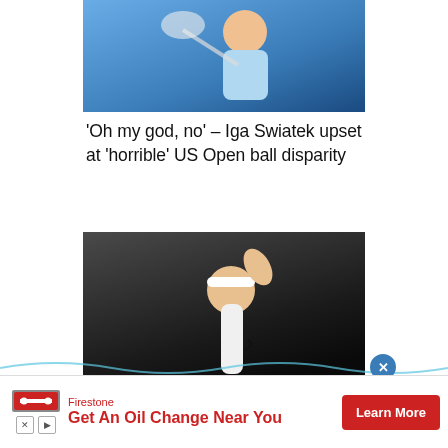[Figure (photo): Tennis player (Iga Swiatek) holding racket aloft, wearing light blue outfit, blue background]
'Oh my god, no' – Iga Swiatek upset at 'horrible' US Open ball disparity
[Figure (photo): Tennis player (Simona Halep) serving or celebrating, wearing white outfit and white headband, dark background]
Simona Halep suffers US Open scare as thigh injury forces Cincinnati
[Figure (infographic): Advertisement banner: Firestone – Get An Oil Change Near You, with Learn More button]